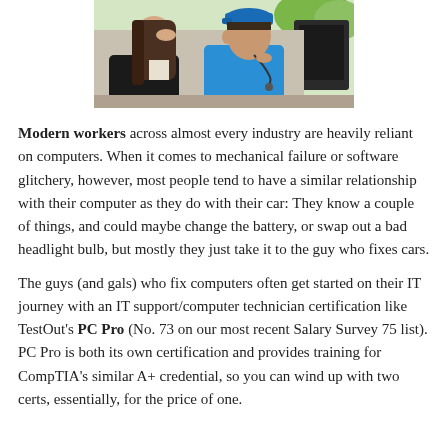[Figure (photo): A frustrated woman in a black blazer with her hand on her forehead, and a male IT technician in a blue polo shirt looking at a computer monitor, appearing to diagnose a computer problem.]
Modern workers across almost every industry are heavily reliant on computers. When it comes to mechanical failure or software glitchery, however, most people tend to have a similar relationship with their computer as they do with their car: They know a couple of things, and could maybe change the battery, or swap out a bad headlight bulb, but mostly they just take it to the guy who fixes cars.
The guys (and gals) who fix computers often get started on their IT journey with an IT support/computer technician certification like TestOut's PC Pro (No. 73 on our most recent Salary Survey 75 list). PC Pro is both its own certification and provides training for CompTIA's similar A+ credential, so you can wind up with two certs, essentially, for the price of one.